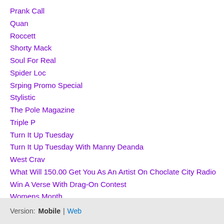Prank Call
Quan
Roccett
Shorty Mack
Soul For Real
Spider Loc
Srping Promo Special
Stylistic
The Pole Magazine
Triple P
Turn It Up Tuesday
Turn It Up Tuesday With Manny Deanda
West Crav
What Will 150.00 Get You As An Artist On Choclate City Radio
Win A Verse With Drag-On Contest
Womens Month
RSS Feed
Version: Mobile | Web